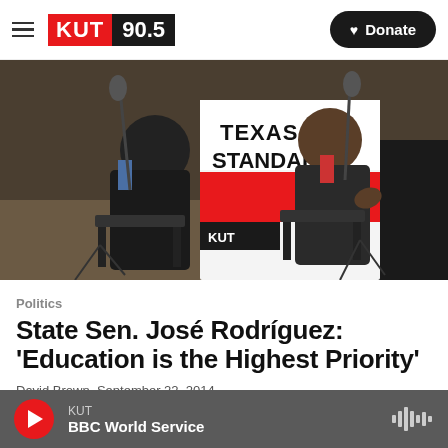KUT 90.5 | Donate
[Figure (photo): Two men in suits seated in chairs having a conversation in front of a Texas Standard banner, with microphones and audio equipment visible in a conference room setting]
Politics
State Sen. José Rodríguez: 'Education is the Highest Priority'
David Brown,  September 22, 2014
KUT BBC World Service